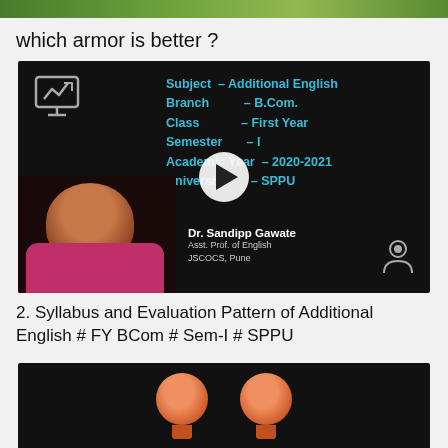[Figure (screenshot): Top green banner image strip (partially visible)]
which armor is better ?
[Figure (screenshot): Video thumbnail showing a lecture slide with Subject – Additional English, Branch – B.Com., Class – First Year, Semester – I, Academic Year – 2020-2021, University – SPPU. Presenter: Dr. Sandipp Gawate, Asst. Prof. of English, JSCOCS, Pune. Play button overlay visible.]
2. Syllabus and Evaluation Pattern of Additional English # FY BCom # Sem-I # SPPU
[Figure (screenshot): Second video thumbnail showing two orange-tinted bald head figures on a dark background]